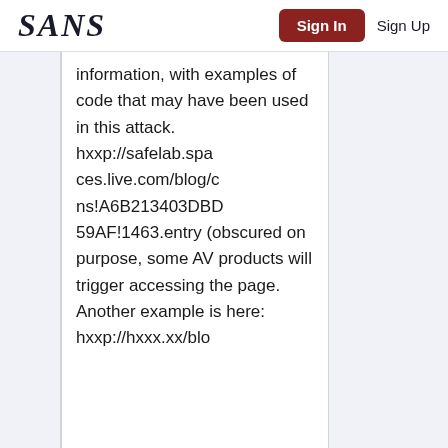SANS | Sign In | Sign Up
information, with examples of code that may have been used in this attack. hxxp://safelab.spaces.live.com/blog/cns!A6B213403DBD59AF!1463.entry (obscured on purpose, some AV products will trigger accessing the page. Another example is here: hxxp://hxxx.xx/blo...